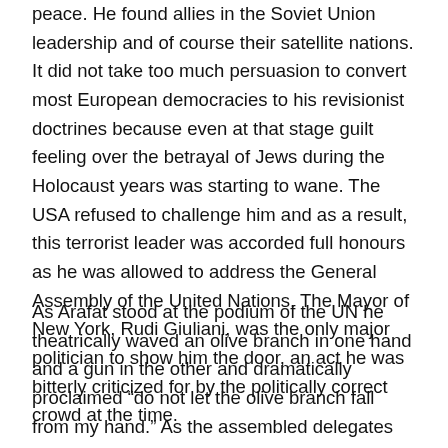peace. He found allies in the Soviet Union leadership and of course their satellite nations. It did not take too much persuasion to convert most European democracies to his revisionist doctrines because even at that stage guilt feeling over the betrayal of Jews during the Holocaust years was starting to wane. The USA refused to challenge him and as a result, this terrorist leader was accorded full honours as he was allowed to address the General Assembly of the United Nations. The Mayor of New York, Rudi Giuliani, was the only major politician to show him the door, an act he was bitterly criticized for by the politically correct crowd at the time.
As Arafat stood at the podium of the UN he theatrically waved an olive branch in one hand and a gun in the other and dramatically proclaimed “do not let the olive branch fall from my hand.” As the assembled delegates burst into rapturous applause at this duplicitous piece of oratory and the media exploded into an avalanche of ecstasy, Arafat was already